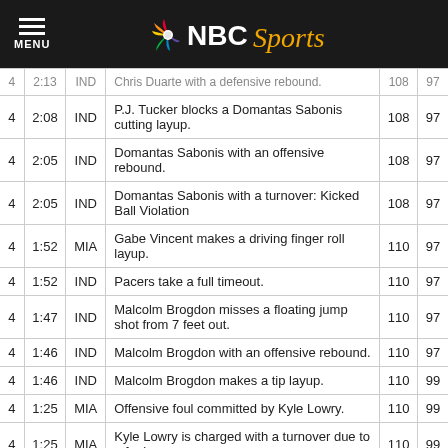NBC Sports
| QTR | TIME | TEAM | DESCRIPTION | MIA | IND |
| --- | --- | --- | --- | --- | --- |
| 4 | 2:08 | IND | P.J. Tucker blocks a Domantas Sabonis cutting layup. | 108 | 97 |
| 4 | 2:05 | IND | Domantas Sabonis with an offensive rebound. | 108 | 97 |
| 4 | 2:05 | IND | Domantas Sabonis with a turnover: Kicked Ball Violation | 108 | 97 |
| 4 | 1:52 | MIA | Gabe Vincent makes a driving finger roll layup. | 110 | 97 |
| 4 | 1:52 | IND | Pacers take a full timeout. | 110 | 97 |
| 4 | 1:47 | IND | Malcolm Brogdon misses a floating jump shot from 7 feet out. | 110 | 97 |
| 4 | 1:46 | IND | Malcolm Brogdon with an offensive rebound. | 110 | 97 |
| 4 | 1:46 | IND | Malcolm Brogdon makes a tip layup. | 110 | 99 |
| 4 | 1:25 | MIA | Offensive foul committed by Kyle Lowry. | 110 | 99 |
| 4 | 1:25 | MIA | Kyle Lowry is charged with a turnover due to a foul. | 110 | 99 |
| 4 | ... | ... | Malcolm Brogdon misses a 3 point jump shot from | ... | ... |